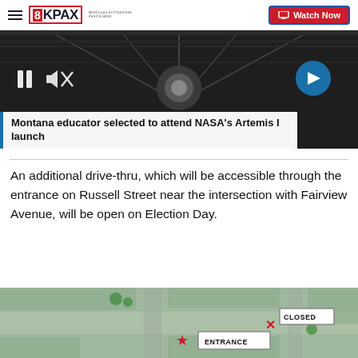8KPAX | Watch Now
[Figure (screenshot): Video thumbnail showing dark industrial ceiling structure with video player controls (pause, mute) and a blue circular next arrow button. Title overlay reads: Montana educator selected to attend NASA's Artemis I launch]
Montana educator selected to attend NASA's Artemis I launch
An additional drive-thru, which will be accessible through the entrance on Russell Street near the intersection with Fairview Avenue, will be open on Election Day.
[Figure (map): Aerial map showing parking/street area with a red star labeled ENTRANCE and a red X labeled CLOSED]